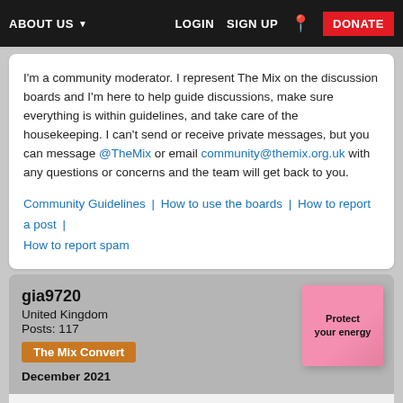ABOUT US | LOGIN | SIGN UP | DONATE
I'm a community moderator. I represent The Mix on the discussion boards and I'm here to help guide discussions, make sure everything is within guidelines, and take care of the housekeeping. I can't send or receive private messages, but you can message @TheMix or email community@themix.org.uk with any questions or concerns and the team will get back to you.
Community Guidelines | How to use the boards | How to report a post | How to report spam
gia9720
United Kingdom
Posts: 117
The Mix Convert
December 2021
@Laura_tigger82 OMG thats absolutely amazing, ive explored masters degrees im torn between learning disability nursing and mental health nursing im not sure yet what i want to do but i have worked with children with special educational